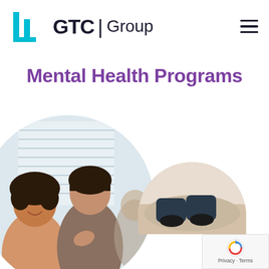[Figure (logo): LLGTC Group logo with cyan L-shaped bracket marks and bold dark text]
[Figure (other): Hamburger menu icon (three horizontal lines)]
Mental Health Programs
[Figure (photo): Circular-cropped photo of two women in a group therapy or wellness session, smiling and engaged]
[Figure (photo): Partial circular photo at bottom right showing a person lounging/resting]
[Figure (other): Google reCAPTCHA badge with Privacy and Terms links]